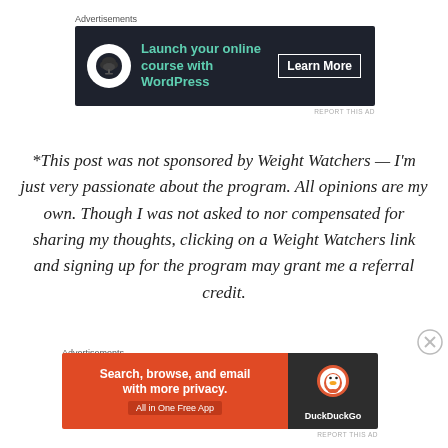Advertisements
[Figure (advertisement): Dark navy banner ad: bonsai tree icon in white circle, teal text 'Launch your online course with WordPress', white outlined 'Learn More' button]
REPORT THIS AD
*This post was not sponsored by Weight Watchers — I'm just very passionate about the program. All opinions are my own. Though I was not asked to nor compensated for sharing my thoughts, clicking on a Weight Watchers link and signing up for the program may grant me a referral credit.
Advertisements
[Figure (advertisement): Orange and dark ad for DuckDuckGo: 'Search, browse, and email with more privacy. All in One Free App' with DuckDuckGo logo on dark right panel]
REPORT THIS AD